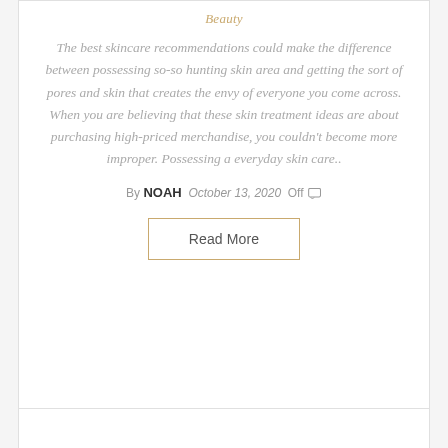Beauty
The best skincare recommendations could make the difference between possessing so-so hunting skin area and getting the sort of pores and skin that creates the envy of everyone you come across. When you are believing that these skin treatment ideas are about purchasing high-priced merchandise, you couldn't become more improper. Possessing a everyday skin care..
By NOAH  October 13, 2020  Off
Read More